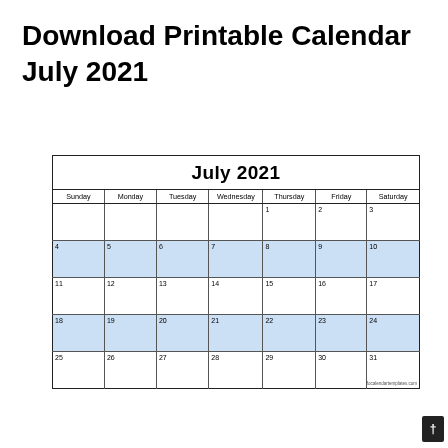Download Printable Calendar July 2021
| Sunday | Monday | Tuesday | Wednesday | Thursday | Friday | Saturday |
| --- | --- | --- | --- | --- | --- | --- |
|  |  |  |  | 1 | 2 | 3 |
| 4 | 5 | 6 | 7 | 8 | 9 | 10 |
| 11 | 12 | 13 | 14 | 15 | 16 | 17 |
| 18 | 19 | 20 | 21 | 22 | 23 | 24 |
| 25 | 26 | 27 | 28 | 29 | 30 | 31 |